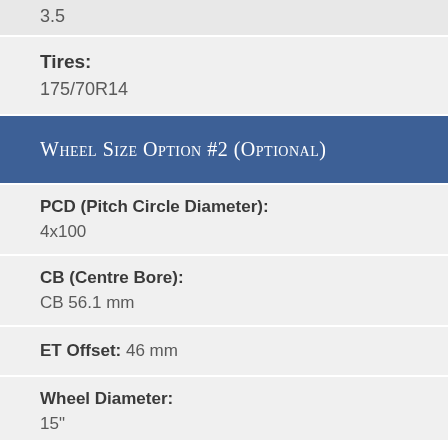3.5
Tires:
175/70R14
Wheel Size Option #2 (Optional)
PCD (Pitch Circle Diameter):
4x100
CB (Centre Bore):
CB 56.1 mm
ET Offset: 46 mm
Wheel Diameter:
15"